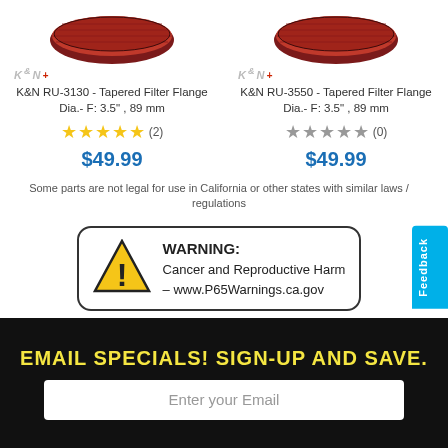[Figure (photo): K&N air filter product images at top of page (red/brown tapered filters), two products side by side]
K&N RU-3130 - Tapered Filter Flange Dia.- F: 3.5" , 89 mm
★★★★★ (2)
$49.99
K&N RU-3550 - Tapered Filter Flange Dia.- F: 3.5" , 89 mm
★★★★★ (0)
$49.99
Some parts are not legal for use in California or other states with similar laws / regulations
WARNING: Cancer and Reproductive Harm – www.P65Warnings.ca.gov
EMAIL SPECIALS! SIGN-UP AND SAVE.
Enter your Email